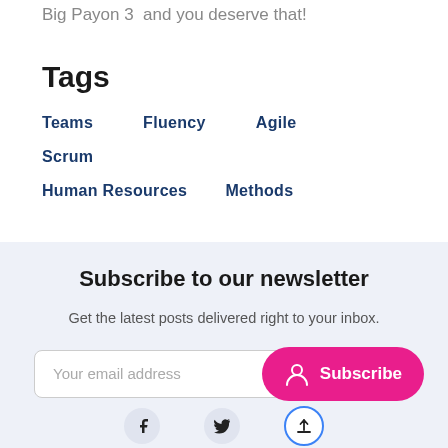Big Payon 3  and you deserve that!
Tags
Teams
Fluency
Agile
Scrum
Human Resources
Methods
Subscribe to our newsletter
Get the latest posts delivered right to your inbox.
Your email address
Subscribe